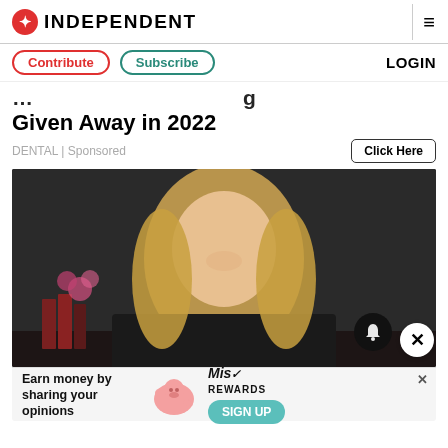INDEPENDENT
Contribute  Subscribe  LOGIN
Given Away in 2022
DENTAL | Sponsored   Click Here
[Figure (photo): Blonde woman in judicial robes smiling, seated at desk with law books and pink flowers in background]
Earn money by sharing your opinions  SIGN UP  Mis Rewards